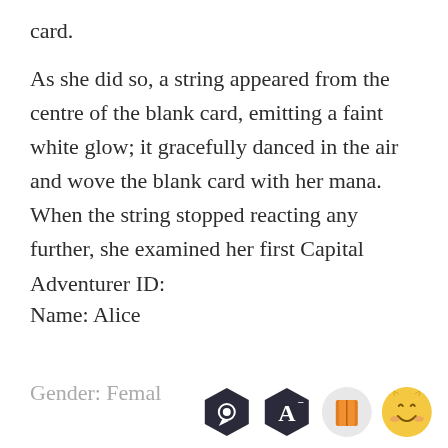card.
As she did so, a string appeared from the centre of the blank card, emitting a faint white glow; it gracefully danced in the air and wove the blank card with her mana. When the string stopped reacting any further, she examined her first Capital Adventurer ID:
Name: Alice
Gender: Female